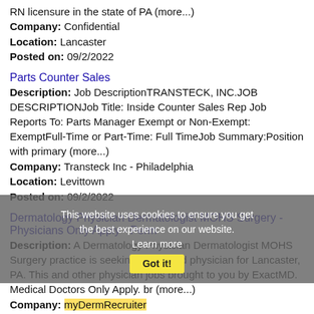RN licensure in the state of PA (more...)
Company: Confidential
Location: Lancaster
Posted on: 09/2/2022
Parts Counter Sales
Description: Job DescriptionTRANSTECK, INC.JOB DESCRIPTIONJob Title: Inside Counter Sales Rep Job Reports To: Parts Manager Exempt or Non-Exempt: ExemptFull-Time or Part-Time: Full TimeJob Summary:Position with primary (more...)
Company: Transteck Inc - Philadelphia
Location: Levittown
Posted on: 09/2/2022
Dermatology Physician Dermatologist MOHS Surgery - Physicians Only Apply - Perm
Description: A Dermatology Physician Dermatologist MOHS Surgery practice is seeking a qualified physician for Lancaster, PA. This and other physician jobs brought to you by ExactMD. Medical Doctors Only Apply. br (more...)
Company: myDermRecruiter
Location: Lancaster
Posted on: 09/2/2022